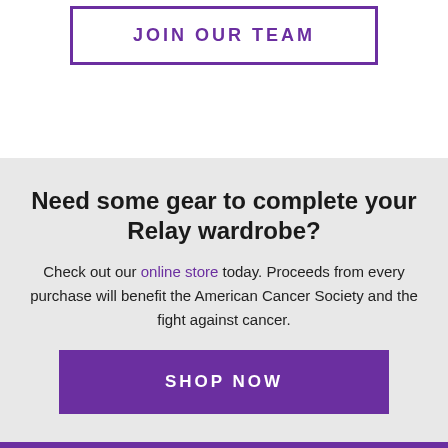JOIN OUR TEAM
Need some gear to complete your Relay wardrobe?
Check out our online store today. Proceeds from every purchase will benefit the American Cancer Society and the fight against cancer.
SHOP NOW
Cancer information, answers, and hope. Available every minute of every day.
800-227-2345